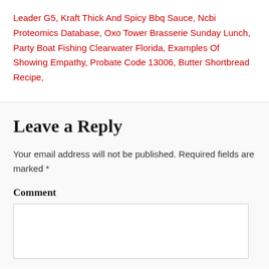Leader G5, Kraft Thick And Spicy Bbq Sauce, Ncbi Proteomics Database, Oxo Tower Brasserie Sunday Lunch, Party Boat Fishing Clearwater Florida, Examples Of Showing Empathy, Probate Code 13006, Butter Shortbread Recipe,
Leave a Reply
Your email address will not be published. Required fields are marked *
Comment